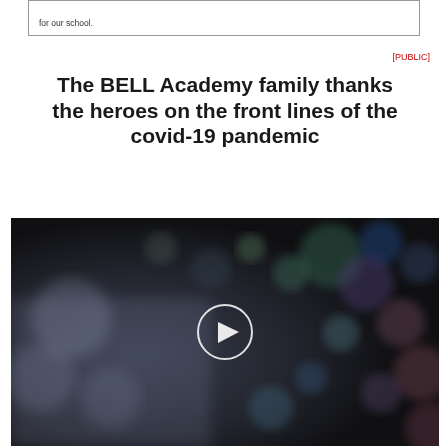for our school.
[PUBLIC]
The BELL Academy family thanks the heroes on the front lines of the covid-19 pandemic
[Figure (photo): Dark bokeh background video thumbnail with a white circular play button in the center]